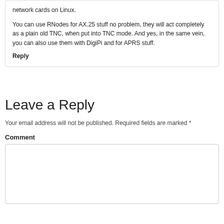network cards on Linux.
You can use RNodes for AX.25 stuff no problem, they will act completely as a plain old TNC, when put into TNC mode. And yes, in the same vein, you can also use them with DigiPi and for APRS stuff.
Reply
Leave a Reply
Your email address will not be published. Required fields are marked *
Comment
[Figure (screenshot): Empty comment textarea input box]
[Figure (other): Donate button with coffee cup icon containing heart]